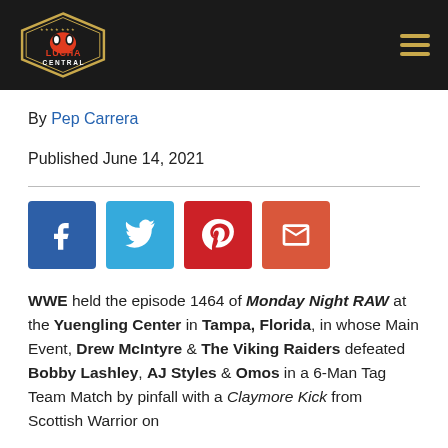Lucha Central
By Pep Carrera
Published June 14, 2021
[Figure (other): Social share buttons: Facebook, Twitter, Pinterest, Email]
WWE held the episode 1464 of Monday Night RAW at the Yuengling Center in Tampa, Florida, in whose Main Event, Drew McIntyre & The Viking Raiders defeated Bobby Lashley, AJ Styles & Omos in a 6-Man Tag Team Match by pinfall with a Claymore Kick from Scottish Warrior on